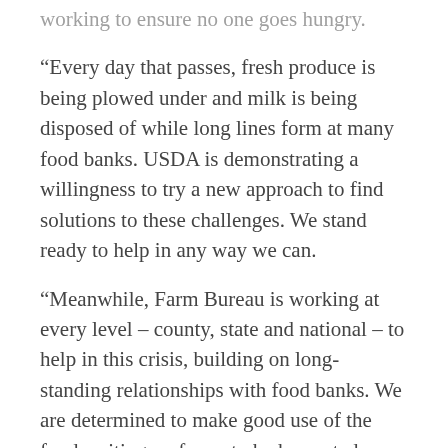working to ensure no one goes hungry.
“Every day that passes, fresh produce is being plowed under and milk is being disposed of while long lines form at many food banks. USDA is demonstrating a willingness to try a new approach to find solutions to these challenges. We stand ready to help in any way we can.
“Meanwhile, Farm Bureau is working at every level – county, state and national – to help in this crisis, building on long-standing relationships with food banks. We are determined to make good use of the food waiting on farms to be harvested or packaged.”
Background:
The pandemic forced the closing of